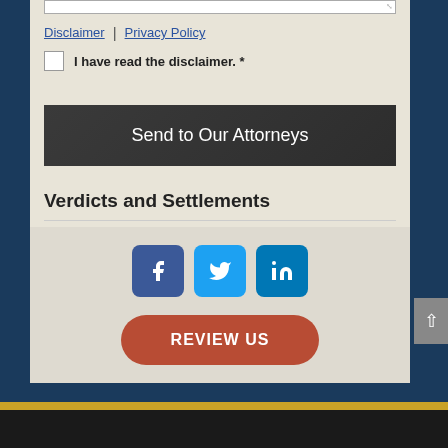Disclaimer | Privacy Policy
I have read the disclaimer. *
Send to Our Attorneys
Verdicts and Settlements
[Figure (other): Social media icons: Facebook, Twitter, LinkedIn]
REVIEW US
Footer bar with gold accent and dark background